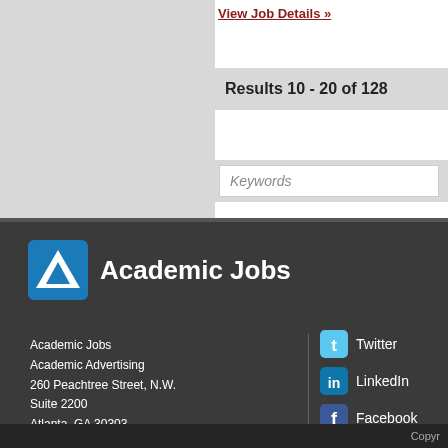View Job Details »
Results 10 - 20 of 128
Keywords
[Figure (logo): Academic Jobs logo with blue triangle icon and white text on dark footer]
Academic Jobs
Academic Advertising
260 Peachtree Street, N.W.
Suite 2200
Atlanta, GA 30303
Twitter
LinkedIn
Facebook
Google Plus
Copyr